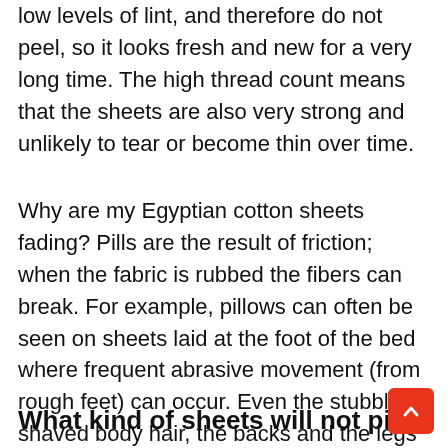low levels of lint, and therefore do not peel, so it looks fresh and new for a very long time. The high thread count means that the sheets are also very strong and unlikely to tear or become thin over time.
Why are my Egyptian cotton sheets fading? Pills are the result of friction; when the fabric is rubbed the fibers can break. For example, pillows can often be seen on sheets laid at the foot of the bed where frequent abrasive movement (from rough feet) can occur. Even the stubble of shaved body hair, the backs and the legs can be abrasive enough to cause fading.
What kind of sheets will not pill?